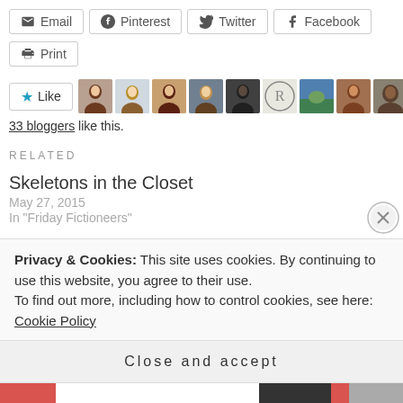[Figure (screenshot): Social share buttons: Email, Pinterest, Twitter, Facebook]
[Figure (screenshot): Print button]
[Figure (screenshot): Like button with 9 blogger avatar thumbnails]
33 bloggers like this.
RELATED
Skeletons in the Closet
May 27, 2015
In "Friday Fictioneers"
Friday Fictioneers: The Last Porch
February 13, 2015
Privacy & Cookies: This site uses cookies. By continuing to use this website, you agree to their use.
To find out more, including how to control cookies, see here: Cookie Policy
Close and accept